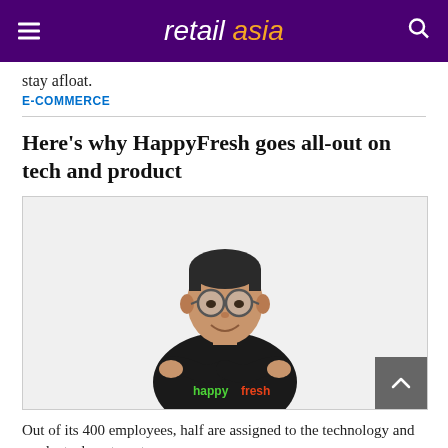retail asia
stay afloat.
E-COMMERCE
Here's why HappyFresh goes all-out on tech and product
[Figure (photo): A man wearing glasses and a HappyFresh branded black t-shirt, arms crossed, smiling, photographed against a white background.]
Out of its 400 employees, half are assigned to the technology and products department.